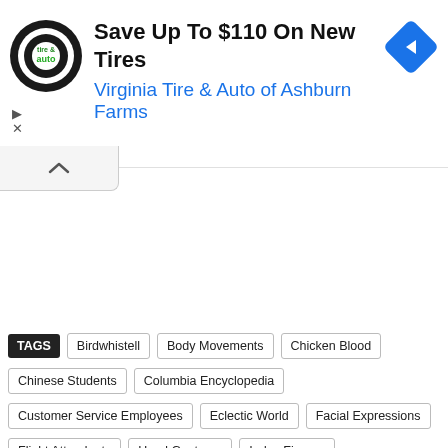[Figure (screenshot): Advertisement banner: Save Up To $110 On New Tires - Virginia Tire & Auto of Ashburn Farms, with tire & auto logo and blue diamond arrow icon]
TAGS  Birdwhistell  Body Movements  Chicken Blood  Chinese Students  Columbia Encyclopedia  Customer Service Employees  Eclectic World  Facial Expressions  Flight Attendants  Hand Gestures  Index Fingers